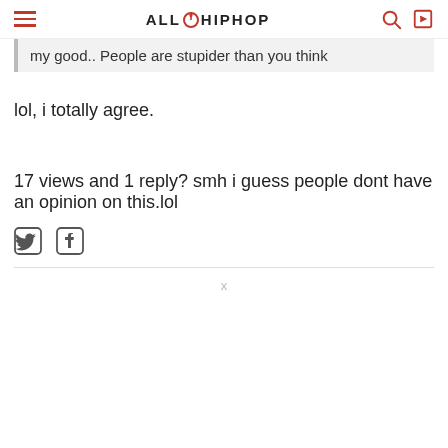ALL HIP HOP
my good.. People are stupider than you think
lol, i totally agree.
17 views and 1 reply? smh i guess people dont have an opinion on this.lol
[Figure (other): Twitter and Facebook social share icons]
x